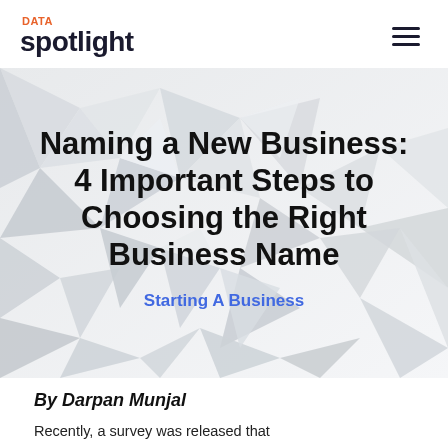DATA spotlight
[Figure (illustration): Abstract geometric low-poly background with white/light gray triangular facets forming a 3D crystalline pattern, used as hero image background]
Naming a New Business: 4 Important Steps to Choosing the Right Business Name
Starting A Business
By Darpan Munjal
Recently, a survey was released that